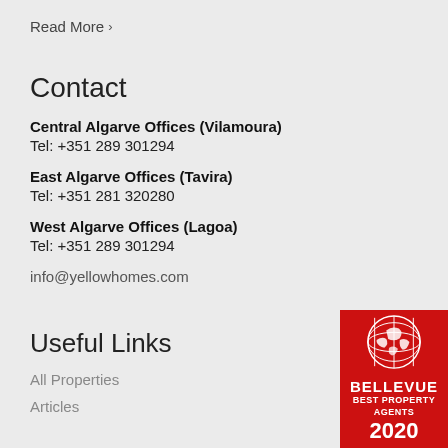Read More >
Contact
Central Algarve Offices (Vilamoura)
Tel: +351 289 301294
East Algarve Offices (Tavira)
Tel: +351 281 320280
West Algarve Offices (Lagoa)
Tel: +351 289 301294
info@yellowhomes.com
Useful Links
All Properties
Articles
[Figure (logo): Bellevue Best Property Agents 2020 badge — red background with white globe illustration and text BELLEVUE BEST PROPERTY AGENTS 2020]